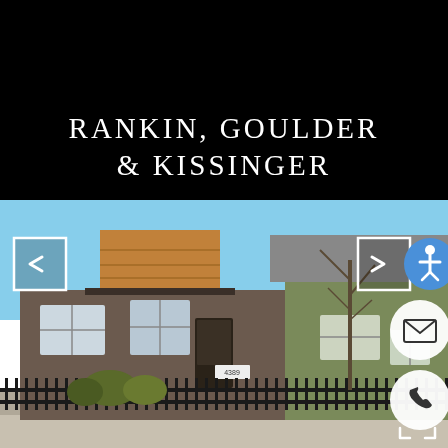[Figure (logo): G&K ampersand logo monogram in white on black background]
RANKIN, GOULDER & KISSINGER
[Figure (photo): Exterior photo of a residential house with cedar shake gable, brown siding, black iron fence, number 4389, blue sky, bare trees; navigation arrows and contact buttons overlaid]